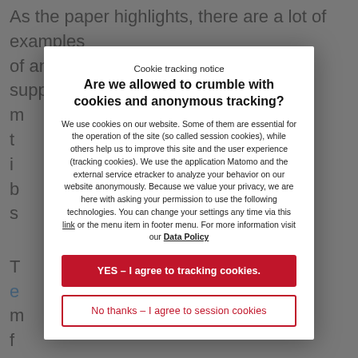As the paper highlights, there are a lot of examples of and therefore lessons available to support at the r... t... i... b... s...
Cookie tracking notice
Are we allowed to crumble with cookies and anonymous tracking?
We use cookies on our website. Some of them are essential for the operation of the site (so called session cookies), while others help us to improve this site and the user experience (tracking cookies). We use the application Matomo and the external service etracker to analyze your behavior on our website anonymously. Because we value your privacy, we are here with asking your permission to use the following technologies. You can change your settings any time via this link or the menu item in footer menu. For more information visit our Data Policy
YES – I agree to tracking cookies.
No thanks – I agree to session cookies